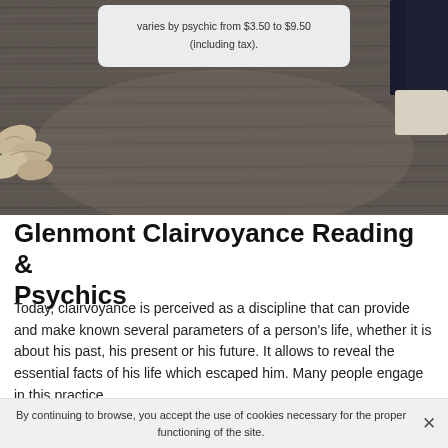[Figure (photo): Photograph of a wooden table surface with seashells on the left and a dark book/object on the upper right. A tooltip/popup box is visible at the top center area with text about pricing varying by psychic from $3.50 to $9.50 (including tax).]
varies by psychic from $3.50 to $9.50 (including tax).
Glenmont Clairvoyance Reading & Psychics
Today, clairvoyance is perceived as a discipline that can provide and make known several parameters of a person's life, whether it is about his past, his present or his future. It allows to reveal the essential facts of his life which escaped him. Many people engage in this practice
By continuing to browse, you accept the use of cookies necessary for the proper functioning of the site.